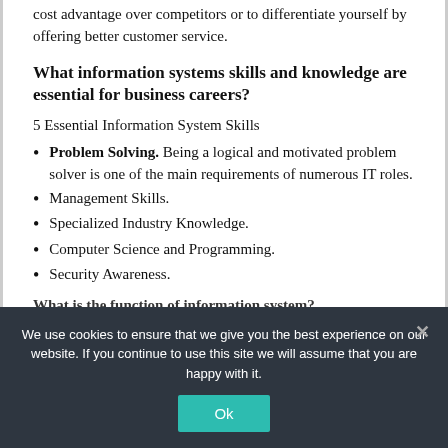cost advantage over competitors or to differentiate yourself by offering better customer service.
What information systems skills and knowledge are essential for business careers?
5 Essential Information System Skills
Problem Solving. Being a logical and motivated problem solver is one of the main requirements of numerous IT roles.
Management Skills.
Specialized Industry Knowledge.
Computer Science and Programming.
Security Awareness.
What is the function of information system?
We use cookies to ensure that we give you the best experience on our website. If you continue to use this site we will assume that you are happy with it.